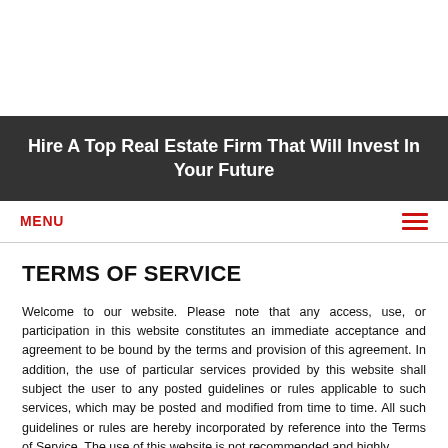Hire A Top Real Estate Firm That Will Invest In Your Future
MENU
TERMS OF SERVICE
Welcome to our website. Please note that any access, use, or participation in this website constitutes an immediate acceptance and agreement to be bound by the terms and provision of this agreement. In addition, the use of particular services provided by this website shall subject the user to any posted guidelines or rules applicable to such services, which may be posted and modified from time to time. All such guidelines or rules are hereby incorporated by reference into the Terms of Service. The use of this website is not recommended and highly